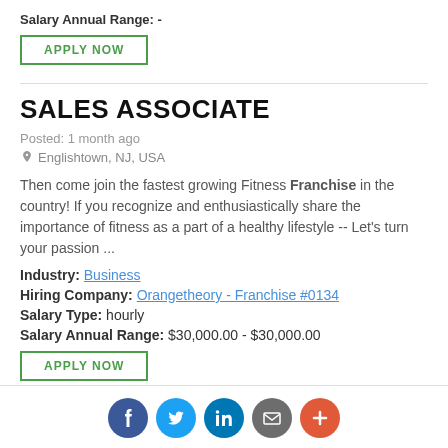Salary Annual Range: -
APPLY NOW
SALES ASSOCIATE
Posted: 1 month ago
Englishtown, NJ, USA
Then come join the fastest growing Fitness Franchise in the country! If you recognize and enthusiastically share the importance of fitness as a part of a healthy lifestyle -- Let's turn your passion ...
Industry: Business
Hiring Company: Orangetheory - Franchise #0134
Salary Type: hourly
Salary Annual Range: $30,000.00 - $30,000.00
APPLY NOW
[Figure (infographic): Social sharing icons: Facebook, Twitter, LinkedIn, Email, Plus]